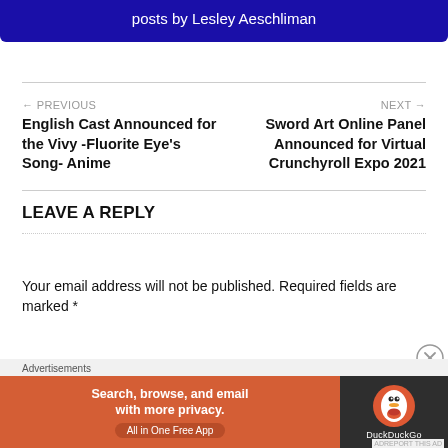posts by Lesley Aeschliman
← PREVIOUS
English Cast Announced for the Vivy -Fluorite Eye's Song- Anime
NEXT →
Sword Art Online Panel Announced for Virtual Crunchyroll Expo 2021
LEAVE A REPLY
Your email address will not be published. Required fields are marked *
Advertisements
Search, browse, and email with more privacy. All in One Free App  DuckDuckGo